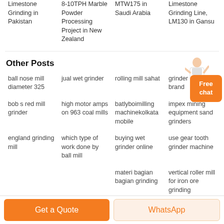Limestone Grinding in Pakistan
8-10TPH Marble Powder Processing Project in New Zealand
MTW175 in Saudi Arabia
Limestone Grinding Line, LM130 in Gansu
Other Posts
ball nose mill diameter 325
jual wet grinder
rolling mill sahat
grinder machine brand
bob s red mill grinder
high motor amps on 963 coal mills
batlyboimilling machinekolkata mobile
impex mining equipment sand grinders
england grinding mill
which type of work done by ball mill
buying wet grinder online
use gear tooth grinder machine
materi bagian bagian grinding
vertical roller mill for iron ore grinding
Get a Quote
WhatsApp